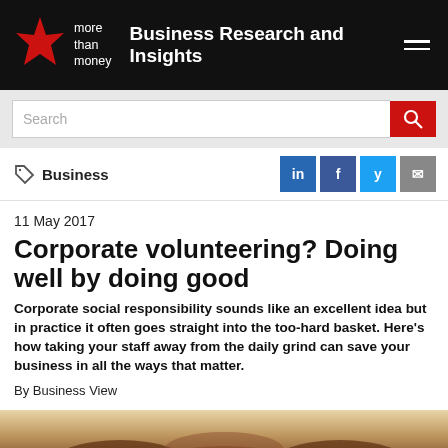Business Research and Insights
[Figure (screenshot): Search bar with red search button]
Business
11 May 2017
Corporate volunteering? Doing well by doing good
Corporate social responsibility sounds like an excellent idea but in practice it often goes straight into the too-hard basket. Here’s how taking your staff away from the daily grind can save your business in all the ways that matter.
By Business View
[Figure (photo): Hands joined together symbolizing teamwork or volunteering, warm tones]